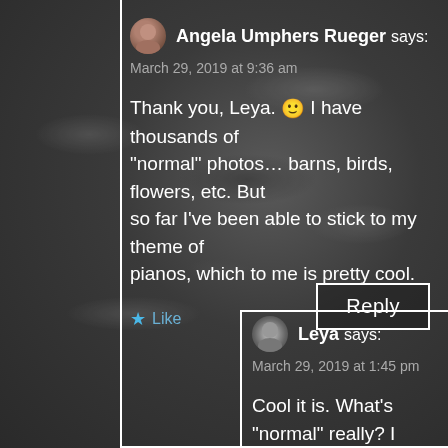[Figure (photo): Rocky lunar or rocky terrain surface photograph, dark gray with textured ridges and shadows, used as background.]
Angela Umphers Rueger says:
March 29, 2019 at 9:36 am
Thank you, Leya. 🙂 I have thousands of "normal" photos... barns, birds, flowers, etc. But so far I've been able to stick to my theme of pianos, which to me is pretty cool.
Like
Reply
Leya says:
March 29, 2019 at 1:45 pm
Cool it is. What's "normal" really? I quite prefer